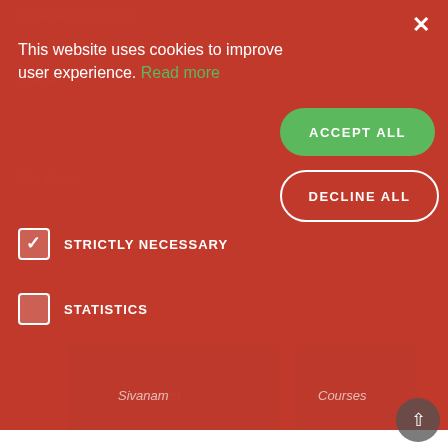[Figure (screenshot): Cookie consent dialog overlay on a website. Red background with text: 'This website uses cookies to improve user experience. Read more'. Checked 'STRICTLY NECESSARY' checkbox and unchecked 'STATISTICS' checkbox. 'ACCEPT ALL' green button and 'DECLINE ALL' white-outlined button. Close X in top right. Below the overlay: 'Get Rejuvenated' heading and body text 'Our yoga programmes are designed to recharge your energy, rejuvenate your body and mind and leave you feeling...']